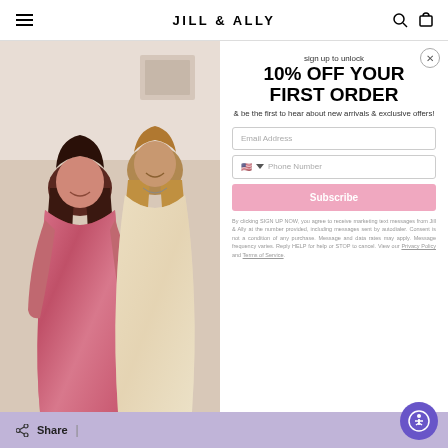JILL & ALLY
[Figure (photo): Two women smiling; one in a pink sequin mini dress (left) and one in a cream patterned long-sleeve dress (right), posing indoors.]
sign up to unlock
10% OFF YOUR FIRST ORDER
& be the first to hear about new arrivals & exclusive offers!
Email Address
Phone Number
Subscribe
By clicking SIGN UP NOW, you agree to receive marketing text messages from Jill & Ally at the number provided, including messages sent by autodialer. Consent is not a condition of any purchase. Message and data rates may apply. Message frequency varies. Reply HELP for help or STOP to cancel. View our Privacy Policy and Terms of Service.
Share |